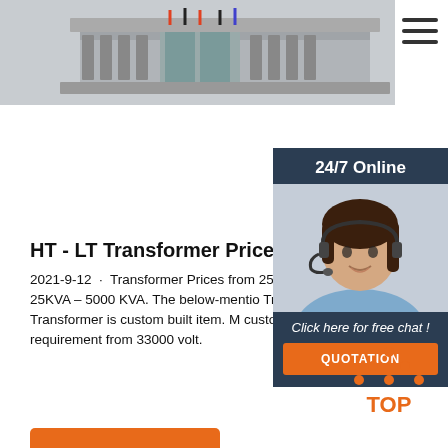[Figure (photo): Industrial transformer unit photographed from above, showing cooling fins and components]
HT - LT Transformer Price List from 25 KV
2021-9-12 · Transformer Prices from 25 K KVA. We are manufacturing Electrical Tran from 25KVA – 5000 KVA. The below-mentioned Transformer prices are valid from 01st Ap Since Transformer is custom built item. M customer may have a requirement from 1 some may have a requirement from 33000 volt.
[Figure (photo): Customer service representative with headset — 24/7 online chat widget]
Get Price
[Figure (illustration): TOP button with orange dots and arrows pointing upward]